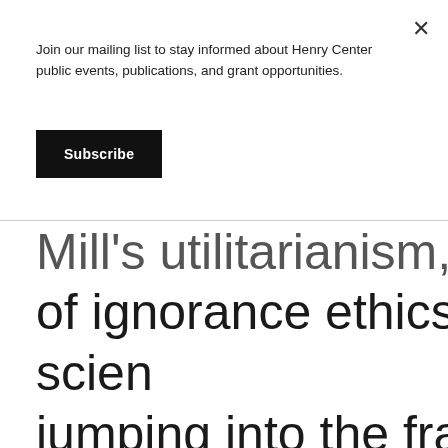Join our mailing list to stay informed about Henry Center public events, publications, and grant opportunities.
Subscribe
Mill's utilitarianism, and John R... of ignorance ethics. Now scien... jumping into the fray, and that ... subject of James Davison Hunt... Nedelisky's book Science and t... whose subtitle suggests the au... conclusion about this program... Tragic Quest for the Foundatio...